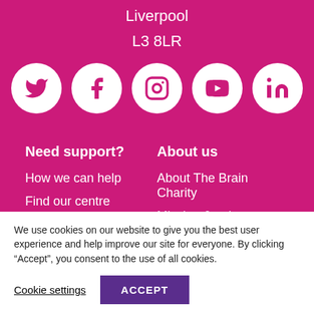Liverpool
L3 8LR
[Figure (illustration): Row of five white circular social media icons (Twitter, Facebook, Instagram, YouTube, LinkedIn) on magenta background]
Need support?
About us
How we can help
About The Brain Charity
Find our centre
Mission & values
Contact us
Latest news
We use cookies on our website to give you the best user experience and help improve our site for everyone. By clicking “Accept”, you consent to the use of all cookies.
Cookie settings
ACCEPT